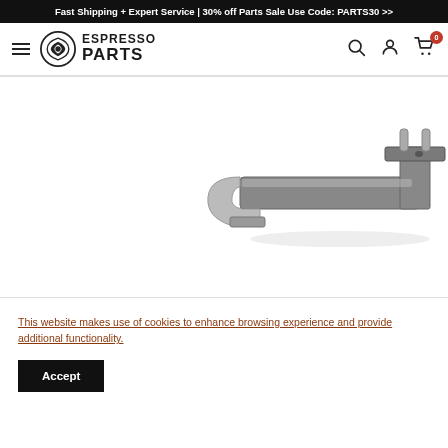Fast Shipping + Expert Service | 30% off Parts Sale Use Code: PARTS30 >>
[Figure (logo): Espresso Parts logo with circular swirl icon and text ESPRESSO PARTS]
[Figure (photo): Partial view of a metal espresso machine part - a bracket or holder component, silver/gray colored with cylindrical pins on top]
This website makes use of cookies to enhance browsing experience and provide additional functionality.
Accept